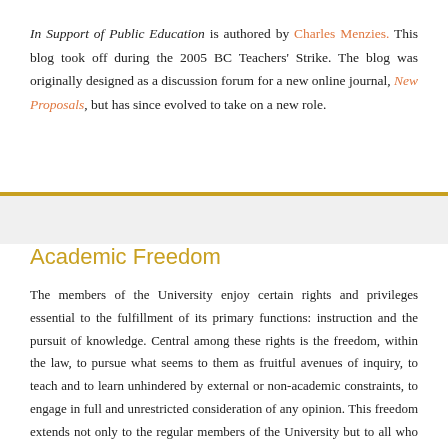In Support of Public Education is authored by Charles Menzies. This blog took off during the 2005 BC Teachers' Strike. The blog was originally designed as a discussion forum for a new online journal, New Proposals, but has since evolved to take on a new role.
Academic Freedom
The members of the University enjoy certain rights and privileges essential to the fulfillment of its primary functions: instruction and the pursuit of knowledge. Central among these rights is the freedom, within the law, to pursue what seems to them as fruitful avenues of inquiry, to teach and to learn unhindered by external or non-academic constraints, to engage in full and unrestricted consideration of any opinion. This freedom extends not only to the regular members of the University but to all who are invited to participate in its forum. Suppression of this freedom, whether by institutions of the state, the